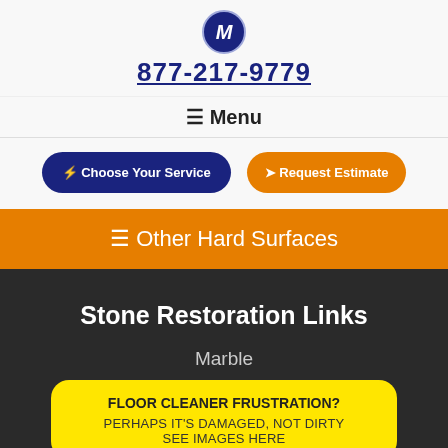[Figure (logo): Blue circular badge with letter M in italic]
877-217-9779
≡ Menu
⚡ Choose Your Service
➤ Request Estimate
≡ Other Hard Surfaces
Stone Restoration Links
Marble
FLOOR CLEANER FRUSTRATION?
PERHAPS IT'S DAMAGED, NOT DIRTY
SEE IMAGES HERE
Terrazzo